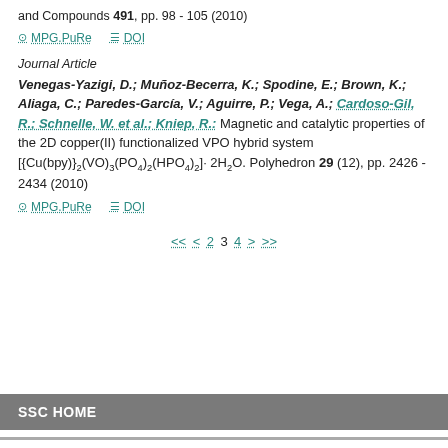and Compounds 491, pp. 98 - 105 (2010)
MPG.PuRe   DOI
Journal Article
Venegas-Yazigi, D.; Muñoz-Becerra, K.; Spodine, E.; Brown, K.; Aliaga, C.; Paredes-García, V.; Aguirre, P.; Vega, A.; Cardoso-Gil, R.; Schnelle, W. et al.; Kniep, R.: Magnetic and catalytic properties of the 2D copper(II) functionalized VPO hybrid system [{Cu(bpy)}2(VO)3(PO4)2(HPO4)2]· 2H2O. Polyhedron 29 (12), pp. 2426 - 2434 (2010)
MPG.PuRe   DOI
<< < 2 3 4 > >>
SSC HOME